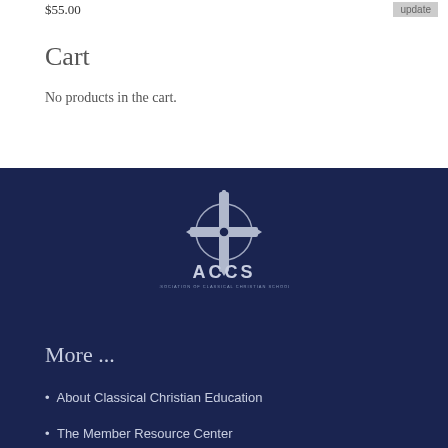$55.00
Cart
No products in the cart.
[Figure (logo): ACCS logo with a cross symbol above the text 'ACCS' on a dark navy background]
More ...
About Classical Christian Education
The Member Resource Center